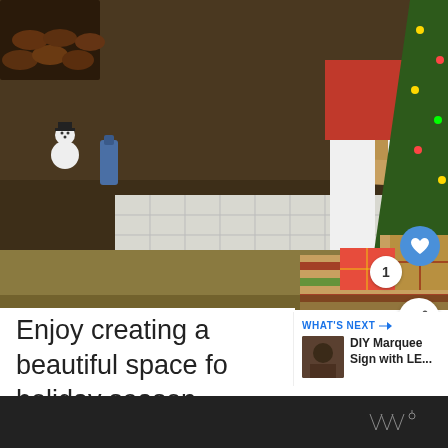[Figure (photo): Christmas scene: child in red top and white pants standing barefoot near a Christmas tree with wrapped gifts on the floor; a wicker basket near a fireplace; snowman figurine visible on the left; warm holiday home interior]
Enjoy creating a beautiful space for the holiday season.
WHAT'S NEXT → DIY Marquee Sign with LE...